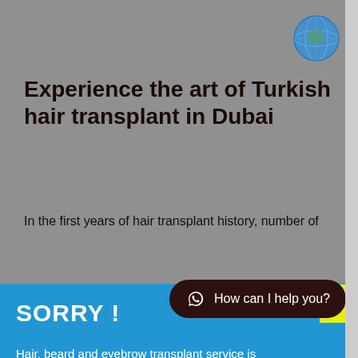[Figure (illustration): Globe icon (earth emoji) in blue tones, top right corner]
Experience the art of Turkish hair transplant in Dubai
In the first years of hair transplant history, number of
SORRY !
Hair, beard and eyebrow transplant service is temporarily unavailable
wanted hair transplant lead to preferring the FUE method more often. FUE method has taken its place among the commonly used methods of transplantation in the world since 2010.
[Figure (other): WhatsApp chat button with text 'How can I help you?']
I am as a Turkish plastic surgeon, working in Dubai with